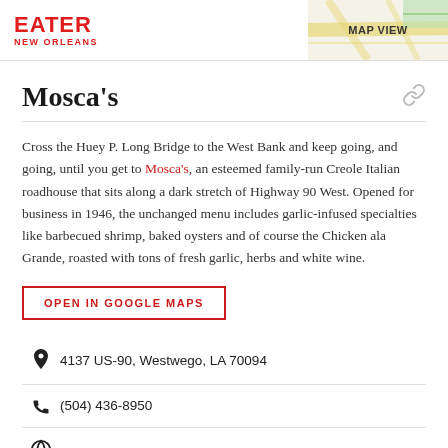EATER NEW ORLEANS
Mosca's
Cross the Huey P. Long Bridge to the West Bank and keep going, and going, until you get to Mosca's, an esteemed family-run Creole Italian roadhouse that sits along a dark stretch of Highway 90 West. Opened for business in 1946, the unchanged menu includes garlic-infused specialties like barbecued shrimp, baked oysters and of course the Chicken ala Grande, roasted with tons of fresh garlic, herbs and white wine.
OPEN IN GOOGLE MAPS
4137 US-90, Westwego, LA 70094
(504) 436-8950